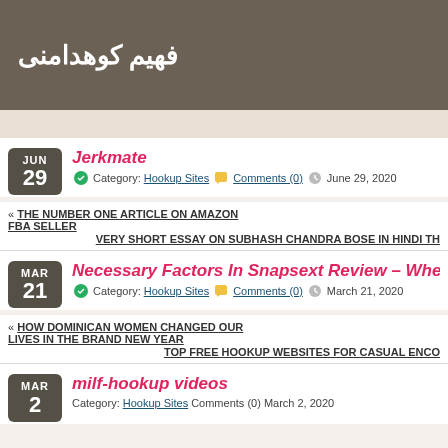فهیم کوهدامنی
Jerkmate
Category: Hookup Sites  Comments (0)  June 29, 2020
« THE NUMBER ONE ARTICLE ON AMAZON FBA SELLER  VERY SHORT ESSAY ON SUBHASH CHANDRA BOSE IN HINDI TH
Necessary Factors In Snapsext Review – Where To Go
Category: Hookup Sites  Comments (0)  March 21, 2020
« HOW DOMINICAN WOMEN CHANGED OUR LIVES IN THE BRAND NEW YEAR  TOP FREE HOOKUP WEBSITES FOR CASUAL ENCO
milf-hookup videos
Category: Hookup Sites  Comments (0)  March 2, 2020